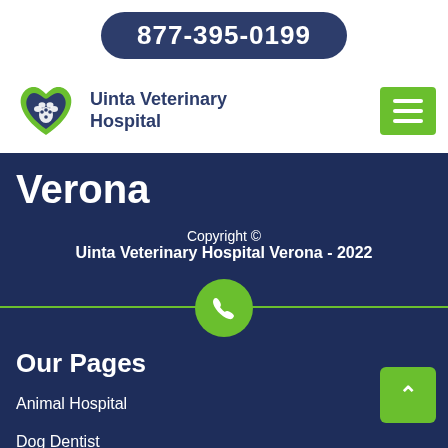877-395-0199
[Figure (logo): Uinta Veterinary Hospital logo with paw print in heart shape]
Uinta Veterinary Hospital
Verona
Copyright © Uinta Veterinary Hospital Verona - 2022
Our Pages
Animal Hospital
Dog Dentist
Dog Vaccinations